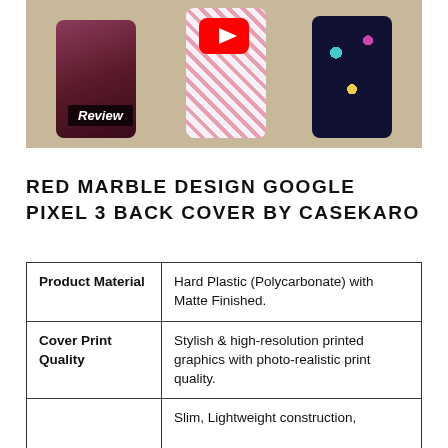[Figure (photo): YouTube review thumbnail showing three phone cases on a table: a dark case on left, a colorful patterned case in the middle, and a black case with elephants on right. YouTube play button visible at top center. 'Review' badge at bottom left.]
RED MARBLE DESIGN GOOGLE PIXEL 3 BACK COVER BY CASEKARO
| Product Material | Hard Plastic (Polycarbonate) with Matte Finished. |
| Cover Print Quality | Stylish & high-resolution printed graphics with photo-realistic print quality. |
|  | Slim, Lightweight construction, |